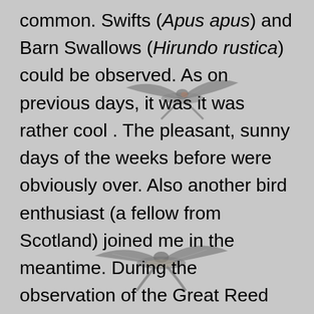[Figure (photo): Two birds (likely swifts or similar) in flight, photographed against a light grey sky, positioned in the upper-center and lower-center areas of the page behind the text.]
common. Swifts (Apus apus) and Barn Swallows (Hirundo rustica) could be observed. As on previous days, it was it was rather cool . The pleasant, sunny days of the weeks before were obviously over. Also another bird enthusiast (a fellow from Scotland) joined me in the meantime. During the observation of the Great Reed Warbler we had beautiful observations of Black Kites (Milvus migrans), which flew directly over our heads. Also in overflight a male Eurasian Marsh-Harrier (Circus aeruginosus) was observed. The area can be very productive for birds on and at the